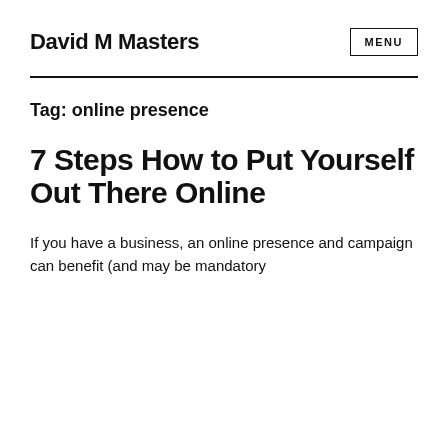David M Masters
Tag: online presence
7 Steps How to Put Yourself Out There Online
If you have a business, an online presence and campaign can benefit (and may be mandatory